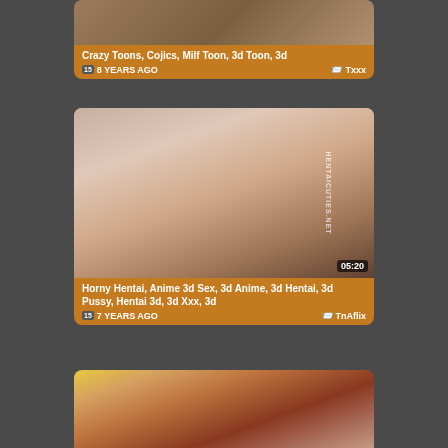[Figure (screenshot): Video thumbnail card 1 - 3D animated content, partially visible at top. Info bar shows: Crazy Toons, Cojics, Milf Toon, 3d Toon, 3d ... | 8 YEARS AGO | Txxx]
[Figure (screenshot): Video thumbnail card 2 - 3D animated hentai content. Duration 05:20. Watermark: HENTAICUTIES.NET. Info bar: Horny Hentai, Anime 3d Sex, 3d Anime, 3d Hentai, 3d Pussy, Hentai 3d, 3d Xxx, 3d | 7 YEARS AGO | TnAflix]
[Figure (screenshot): Video thumbnail card 3 - 3D animated content, partially visible at bottom of page.]